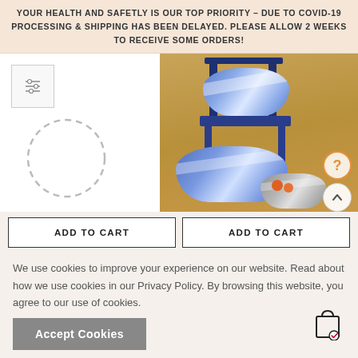YOUR HEALTH AND SAFETLY IS OUR TOP PRIORITY – DUE TO COVID-19 PROCESSING & SHIPPING HAS BEEN DELAYED. PLEASE ALLOW 2 WEEKS TO RECEIVE SOME ORDERS!
[Figure (photo): Two product UI panels: left panel shows a filter/settings icon box and a dashed loading circle placeholder; right panel shows a photo of three blue and white woven baskets arranged near a blue wooden chair on a wooden floor, with a question mark button and an up-arrow button overlaid.]
ADD TO CART
ADD TO CART
We use cookies to improve your experience on our website. Read about how we use cookies in our Privacy Policy. By browsing this website, you agree to our use of cookies.
Accept Cookies